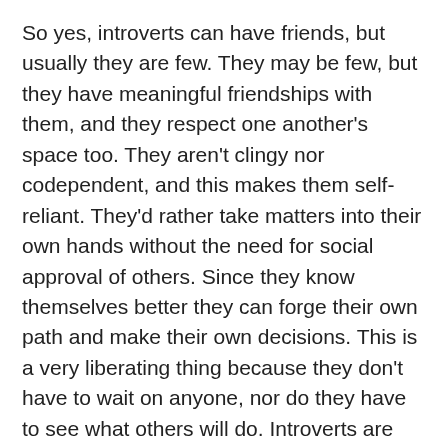So yes, introverts can have friends, but usually they are few. They may be few, but they have meaningful friendships with them, and they respect one another's space too. They aren't clingy nor codependent, and this makes them self-reliant. They'd rather take matters into their own hands without the need for social approval of others. Since they know themselves better they can forge their own path and make their own decisions. This is a very liberating thing because they don't have to wait on anyone, nor do they have to see what others will do. Introverts are OK with being alone in their journey. As a matter of fact, they will view it as a serene adventure.